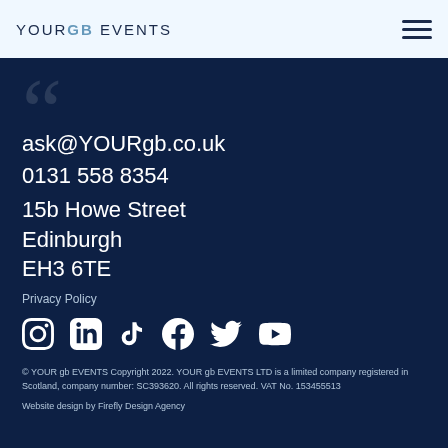YOURGB EVENTS
[Figure (logo): Hamburger menu icon (three horizontal lines)]
ask@YOURgb.co.uk
0131 558 8354
15b Howe Street
Edinburgh
EH3 6TE
Privacy Policy
[Figure (illustration): Row of social media icons: Instagram, LinkedIn, TikTok, Facebook, Twitter/X, YouTube]
© YOUR gb EVENTS Copyright 2022. YOUR gb EVENTS LTD is a limited company registered in Scotland, company number: SC393620. All rights reserved. VAT No. 153455513
Website design by Firefly Design Agency